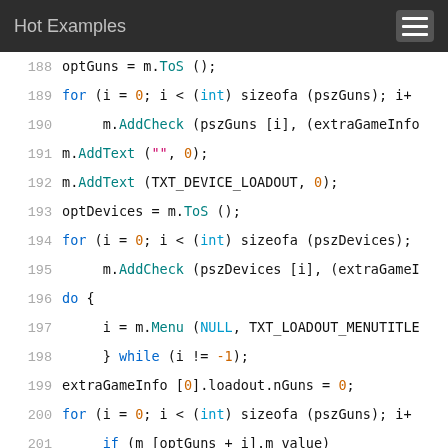Hot Examples
[Figure (screenshot): Code viewer showing lines 188-204 of a C/C++ source file with syntax highlighting. Dark header bar with 'Hot Examples' title and hamburger menu icon. Code shows game loadout menu logic with for loops, AddCheck, AddText, Menu calls, and extraGameInfo struct assignments.]